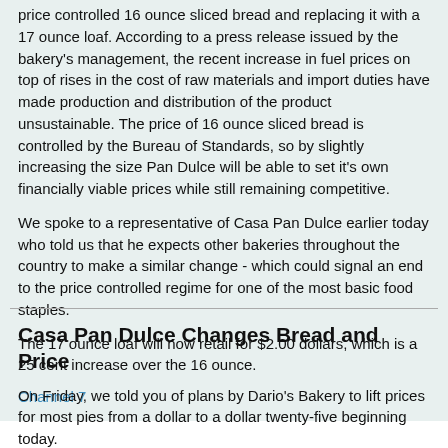price controlled 16 ounce sliced bread and replacing it with a 17 ounce loaf. According to a press release issued by the bakery's management, the recent increase in fuel prices on top of rises in the cost of raw materials and import duties have made production and distribution of the product unsustainable. The price of 16 ounce sliced bread is controlled by the Bureau of Standards, so by slightly increasing the size Pan Dulce will be able to set it's own financially viable prices while still remaining competitive.
We spoke to a representative of Casa Pan Dulce earlier today who told us that he expects other bakeries throughout the country to make a similar change - which could signal an end to the price controlled regime for one of the most basic food staples.
The 17 ounce loaf will now retail for $2.00 dollars, which is a 25 cent increase over the 16 ounce.
Channel 7
Casa Pan Dulce Changes Bread and Price
On Friday, we told you of plans by Dario's Bakery to lift prices for most pies from a dollar to a dollar twenty-five beginning today.